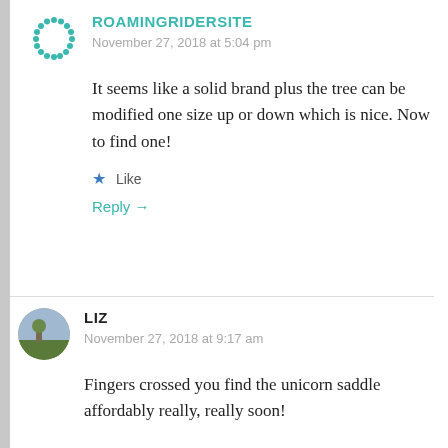[Figure (logo): Green dotted circular avatar icon for ROAMINGRIDERSITE]
ROAMINGRIDERSITE
November 27, 2018 at 5:04 pm
It seems like a solid brand plus the tree can be modified one size up or down which is nice. Now to find one!
★ Like
Reply →
[Figure (photo): Circular avatar photo of Liz showing outdoor scene]
LIZ
November 27, 2018 at 9:17 am
Fingers crossed you find the unicorn saddle affordably really, really soon!